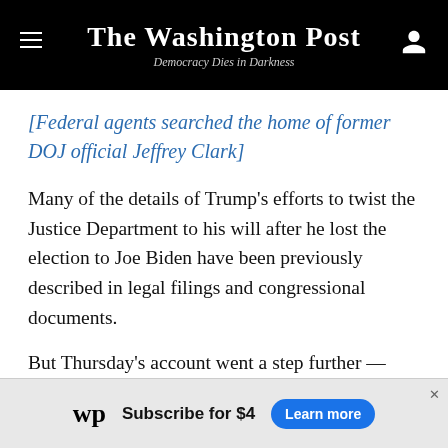The Washington Post — Democracy Dies in Darkness
[Federal agents searched the home of former DOJ official Jeffrey Clark]
Many of the details of Trump's efforts to twist the Justice Department to his will after he lost the election to Joe Biden have been previously described in legal filings and congressional documents.
But Thursday's account went a step further — offering firsthand, live accounts from veteran lawyers who stood up to Trump's demands and say they feared he
[Figure (other): Washington Post subscription advertisement banner: wp logo, 'Subscribe for $4', 'Learn more' button]